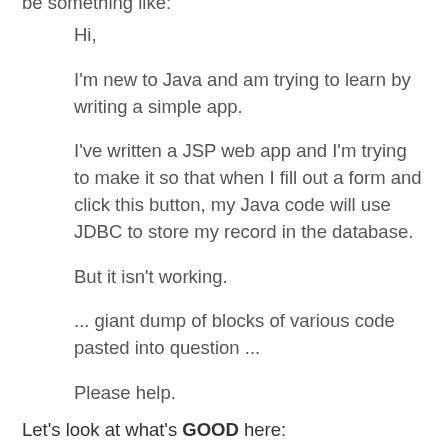be something like:
Hi,
I'm new to Java and am trying to learn by writing a simple app.
I've written a JSP web app and I'm trying to make it so that when I fill out a form and click this button, my Java code will use JDBC to store my record in the database.
But it isn't working.
... giant dump of blocks of various code pasted into question ...
Please help.
Let's look at what's GOOD here:
The questioner is self-aware enough to realize that they're trying to learn some new technologies,